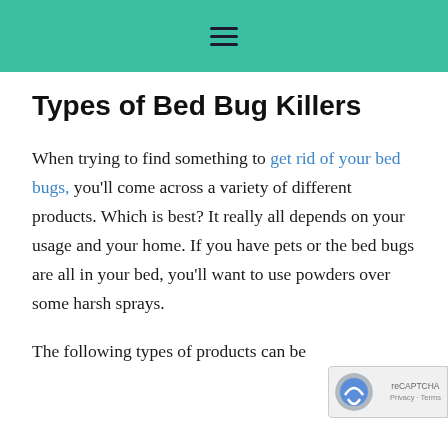≡
Types of Bed Bug Killers
When trying to find something to get rid of your bed bugs, you'll come across a variety of different products. Which is best? It really all depends on your usage and your home. If you have pets or the bed bugs are all in your bed, you'll want to use powders over some harsh sprays.
The following types of products can be